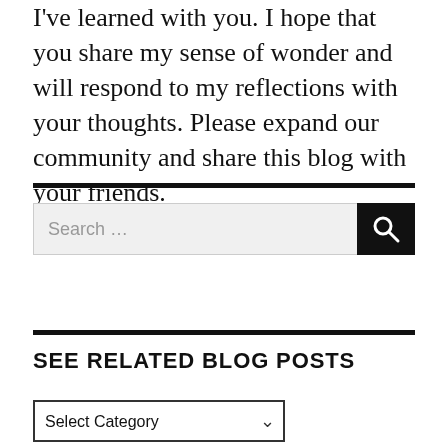I've learned with you. I hope that you share my sense of wonder and will respond to my reflections with your thoughts. Please expand our community and share this blog with your friends.
[Figure (other): Search bar with text 'Search ...' and a dark search button with magnifying glass icon]
SEE RELATED BLOG POSTS
[Figure (other): Dropdown select element with label 'Select Category']